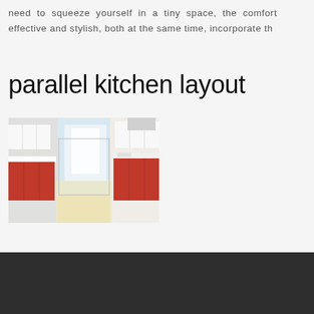need to squeeze yourself in a tiny space, the comfort effective and stylish, both at the same time, incorporate th
parallel kitchen layout
[Figure (photo): Photo of a parallel kitchen layout with red and white cabinetry, showing two parallel counters with a corridor between them, bright natural light from a window at the far end.]